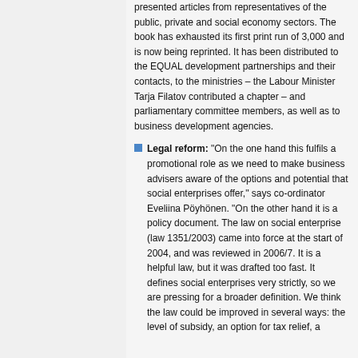presented articles from representatives of the public, private and social economy sectors. The book has exhausted its first print run of 3,000 and is now being reprinted. It has been distributed to the EQUAL development partnerships and their contacts, to the ministries – the Labour Minister Tarja Filatov contributed a chapter – and parliamentary committee members, as well as to business development agencies.
Legal reform: "On the one hand this fulfils a promotional role as we need to make business advisers aware of the options and potential that social enterprises offer," says co-ordinator Eveliina Pöyhönen. "On the other hand it is a policy document. The law on social enterprise (law 1351/2003) came into force at the start of 2004, and was reviewed in 2006/7. It is a helpful law, but it was drafted too fast. It defines social enterprises very strictly, so we are pressing for a broader definition. We think the law could be improved in several ways: the level of subsidy, an option for tax relief, a